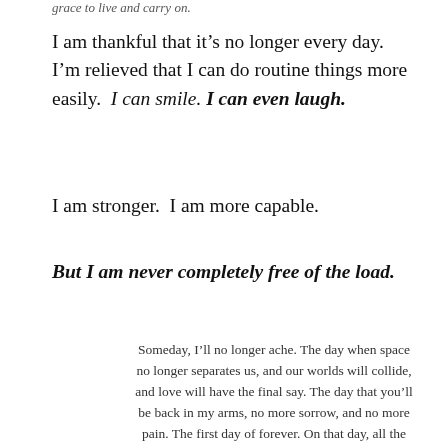grace to live and carry on.
I am thankful that it’s no longer every day.  I’m relieved that I can do routine things more easily.  I can smile. I can even laugh.
I am stronger.  I am more capable.
But I am never completely free of the load.
Someday, I’ll no longer ache. The day when space no longer separates us, and our worlds will collide, and love will have the final say. The day that you’ll be back in my arms, no more sorrow, and no more pain. The first day of forever. On that day, all the years of pain, all of the compartmentalization, all